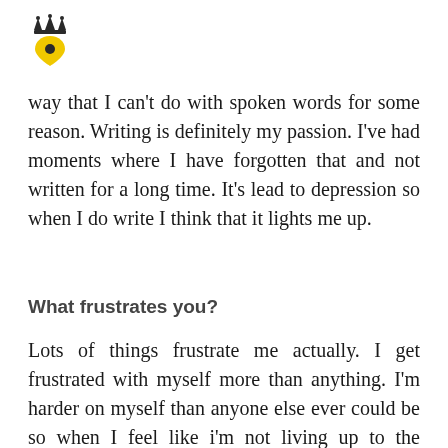[Figure (logo): Crown above a yellow map pin / location marker icon]
way that I can't do with spoken words for some reason. Writing is definitely my passion. I've had moments where I have forgotten that and not written for a long time. It's lead to depression so when I do write I think that it lights me up.
What frustrates you?
Lots of things frustrate me actually. I get frustrated with myself more than anything. I'm harder on myself than anyone else ever could be so when I feel like i'm not living up to the potential that I can hit I'll start